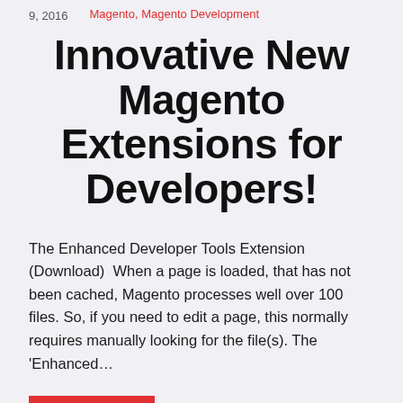9, 2016   Magento, Magento Development
Innovative New Magento Extensions for Developers!
The Enhanced Developer Tools Extension (Download)  When a page is loaded, that has not been cached, Magento processes well over 100 files. So, if you need to edit a page, this normally requires manually looking for the file(s). The 'Enhanced…